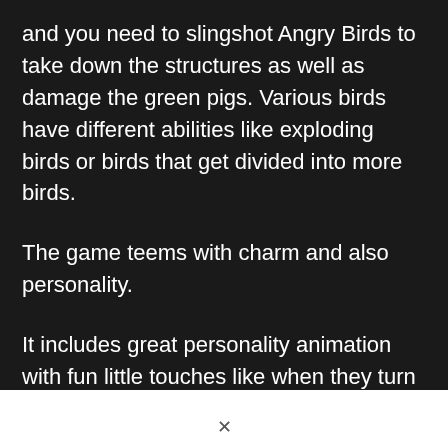and you need to slingshot Angry Birds to take down the structures as well as damage the green pigs. Various birds have different abilities like exploding birds or birds that get divided into more birds.
The game teems with charm and also personality.
It includes great personality animation with fun little touches like when they turn around to offer you a thumbs-up before you launch them.